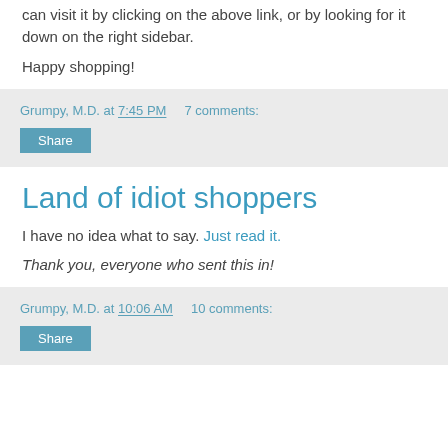can visit it by clicking on the above link, or by looking for it down on the right sidebar.
Happy shopping!
Grumpy, M.D. at 7:45 PM   7 comments:
Share
Land of idiot shoppers
I have no idea what to say. Just read it.
Thank you, everyone who sent this in!
Grumpy, M.D. at 10:06 AM   10 comments:
Share